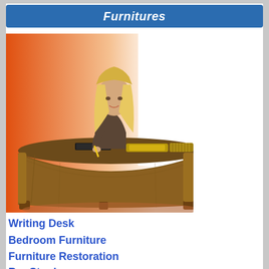Furnitures
[Figure (photo): Woman with blonde hair standing behind a large ornate wooden reception/writing desk, smiling, holding a pencil. Background is orange-white gradient. Decorative items on the desk surface.]
Writing Desk
Bedroom Furniture
Furniture Restoration
Bar Stool